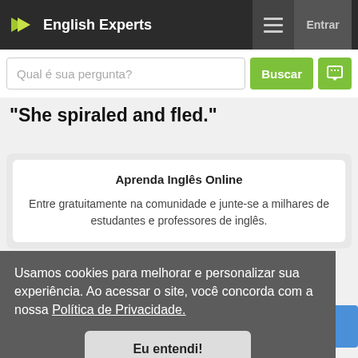English Experts
"She spiraled and fled."
Aprenda Inglês Online
Entre gratuitamente na comunidade e junte-se a milhares de estudantes e professores de inglês.
Usamos cookies para melhorar e personalizar sua experiência. Ao acessar o site, você concorda com a nossa Política de Privacidade.
Eu entendi!
Manuela_sao entrou na comunidade · 41 min atrás